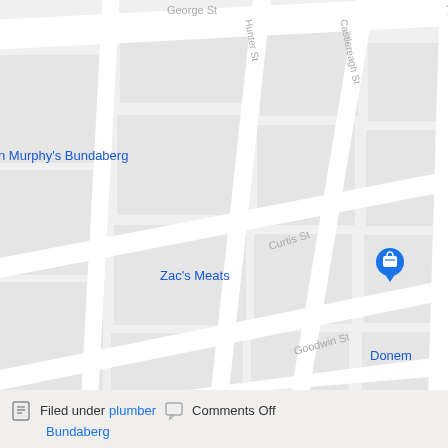[Figure (map): Google Maps street map showing an urban grid in Bundaberg, Australia. Visible streets include George St, Castlereagh St, Pitt St, Hunter St, Curtis St, Goodwin St, Walker St. Business labels visible: Fish & Chips (orange), n Murphy's Bundaberg (blue), Zac's Meats (blue) with a location pin, Donem (blue, partially cut off), Bunc (blue, partially cut off), er Shoppe (blue, partially cut off), Shaw-Line Embroidery (blue), ustralia Post - (blue, partially cut off), Bu (blue, partially cut off). A circular location marker icon is visible near Walker St.]
Filed under plumber Comments Off
Bundaberg